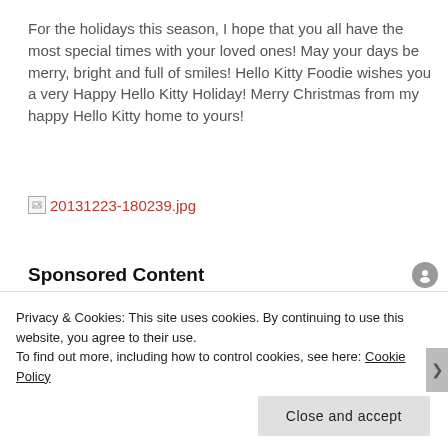For the holidays this season, I hope that you all have the most special times with your loved ones! May your days be merry, bright and full of smiles! Hello Kitty Foodie wishes you a very Happy Hello Kitty Holiday! Merry Christmas from my happy Hello Kitty home to yours!
[Figure (other): Broken image link showing filename: 20131223-180239.jpg]
Sponsored Content
[Figure (photo): Partial photo with white background on left and purple/mauve fabric on right, with dark shape (head/hair) visible]
Privacy & Cookies: This site uses cookies. By continuing to use this website, you agree to their use.
To find out more, including how to control cookies, see here: Cookie Policy
Close and accept